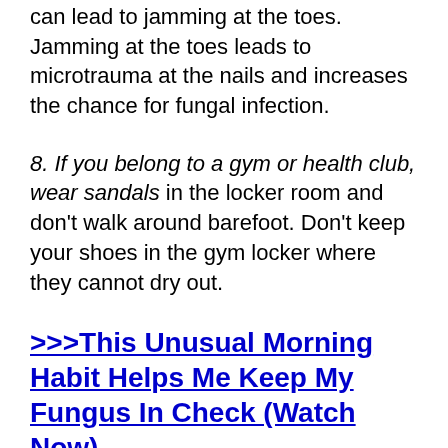can lead to jamming at the toes. Jamming at the toes leads to microtrauma at the nails and increases the chance for fungal infection.
8. If you belong to a gym or health club, wear sandals in the locker room and don't walk around barefoot. Don't keep your shoes in the gym locker where they cannot dry out.
>>>This Unusual Morning Habit Helps Me Keep My Fungus In Check (Watch Now).
9. Ladies, avoid wearing toenail polish. Toenail polish can increases chances of and/or worsen a fungal infection. If you can't bear to go without polish, keep them painted for only 3-4 days